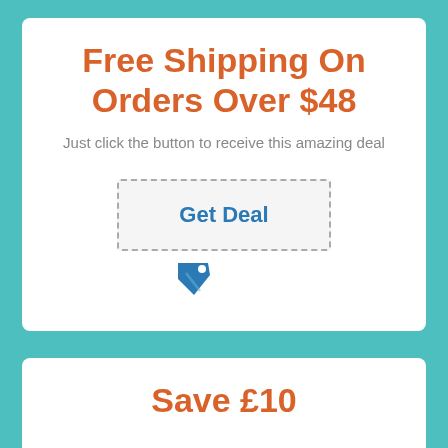Free Shipping On Orders Over $48
Just click the button to receive this amazing deal
[Figure (other): A dashed-border button box with 'Get Deal' text in blue bold, and a blue price tag icon below it.]
Save £10